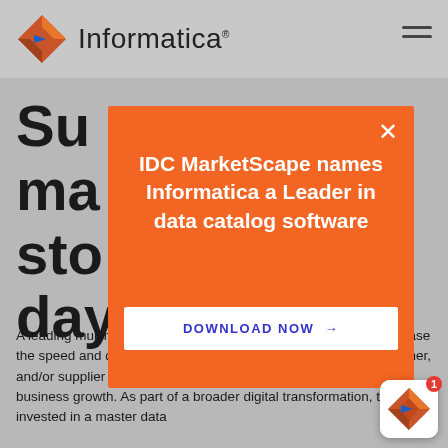Informatica
Su ma sto day
[Figure (screenshot): Orange modal popup overlay on Informatica website. Contains heading 'IDC MarketScape names Informatica a Leader in data catalog software' and a 'DOWNLOAD NOW →' button in white. Close (×) button in top right corner.]
A leading multinational consumer goods company wanted to increase the speed and quality in collecting data to create a product, customer, and/or supplier master data, which would enable them to drive business growth. As part of a broader digital transformation, they invested in a master data
[Figure (logo): Informatica logo icon (orange/blue diamond shape) with notification badge showing '1']